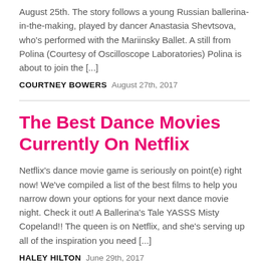August 25th. The story follows a young Russian ballerina-in-the-making, played by dancer Anastasia Shevtsova, who's performed with the Mariinsky Ballet. A still from Polina (Courtesy of Oscilloscope Laboratories) Polina is about to join the [...]
COURTNEY BOWERS   August 27th, 2017
The Best Dance Movies Currently On Netflix
Netflix's dance movie game is seriously on point(e) right now! We've compiled a list of the best films to help you narrow down your options for your next dance movie night. Check it out! A Ballerina's Tale YASSS Misty Copeland!! The queen is on Netflix, and she's serving up all of the inspiration you need [...]
HALEY HILTON   June 29th, 2017